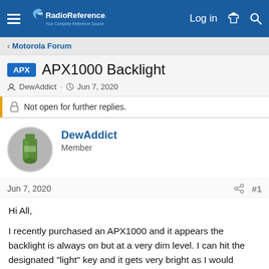RadioReference.com — Log in
< Motorola Forum
APX APX1000 Backlight
DewAddict · Jun 7, 2020
Not open for further replies.
DewAddict
Member
Jun 7, 2020  #1
Hi All,

I recently purchased an APX1000 and it appears the backlight is always on but at a very dim level. I can hit the designated "light" key and it gets very bright as I would expect but when I turn that off it is still on at a very dim level. I have an XPR7550 also, and I am familiar with the newer displays that are easier to see in low